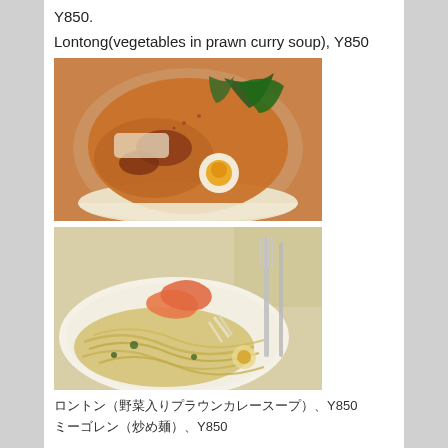Y850.
Lontong(vegetables in prawn curry soup), Y850
[Figure (photo): A white bowl filled with prawn curry soup containing a boiled egg, leafy greens (bok choy/spinach), prawns, and noodles or rice rolls in orange-brown broth.]
[Figure (photo): A white plate with stir-fried yellow noodles topped with prawns/shrimp, bean sprouts, vegetables, and egg, with a silver fork resting on the side.]
ロントン（野菜入りプラウンカレースープ）、Y850
ミーゴレン（炒め麺）、Y850